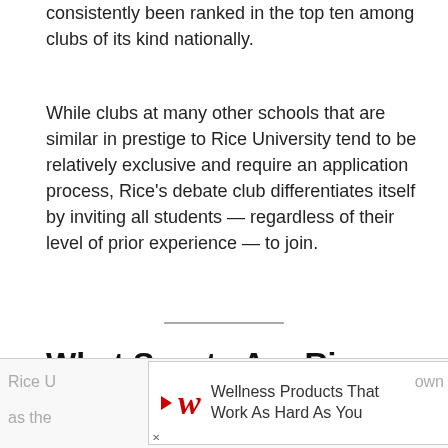consistently been ranked in the top ten among clubs of its kind nationally.
While clubs at many other schools that are similar in prestige to Rice University tend to be relatively exclusive and require an application process, Rice's debate club differentiates itself by inviting all students — regardless of their level of prior experience — to join.
What Sports Are Rice Known For?
Rice [partially obscured] own as the [partially obscured]
[Figure (other): Walgreens advertisement banner: 'Wellness Products That Work As Hard As You' with Walgreens logo (red cursive W) and a blue diamond-shaped arrow icon on the right.]